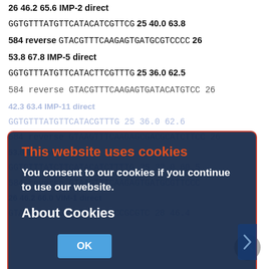| 26 | 46.2 | 65.6 | IMP-2 | direct |
| GGTGTTTATGTTCATACATCGTTCG | 25 | 40.0 | 63.8 |
| 584 | reverse | GTACGTTTCAAGAGTGATGCGTCCCC | 26 |
| 53.8 | 67.8 | IMP-5 | direct |
| GGTGTTTATGTTCATACTTCGTTTG | 25 | 36.0 | 62.5 |
| 584 | reverse | GTACGTTTCAAGAGTGATACATGTCC | 26 |
| 42.3 | 63.4 | IMP-11 | direct |
| GGTGTTTATGTTCATACGTTTG | 25 | 36.0 | 62.6 |
| 584 | reverse | GTAAGTTTCAAGAGCGACGCATCTTCC | 26 |
| 53.8 | 67.8 | IMP-12 | direct |
| GGTGTTTATCTTCATACATCTTTTG | 25 | 32.0 | 60.5 |
| 584 | reverse | GTAAGTTTCAAGAGTGATGCGTTCCC |
| 26 | 46.2 | 66.0 | VIM-1 | direct |
| GTAGTTTATTGGTCTACATGACCGCGTC | 28 | 46.4 |
| 66.9 | 743 | reverse | CGCTGTGTGCTGGAGCAAGTC | 21 |
| 61.9 | 68.1 | VIM-2 | direct |
| GTAAGTTATTGGTCTATTTGACCGCGTC | 28 | 42.9 |
| 65.9 | 743 | reverse | CGTTGTGTGCTTGAGCAAGTC | 21 |
[Figure (screenshot): Cookie consent overlay dialog with orange/red border on dark blue background. Contains title 'This website uses cookies', body text 'You consent to our cookies if you continue to use our website.', 'About Cookies' heading, and an OK button.]